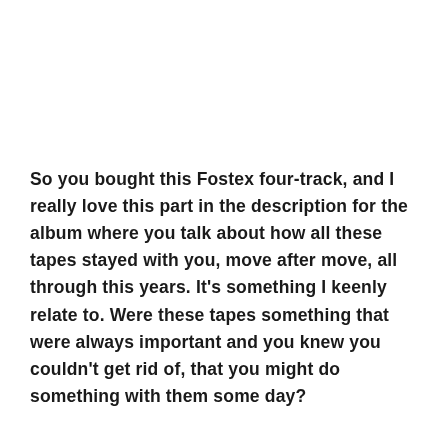So you bought this Fostex four-track, and I really love this part in the description for the album where you talk about how all these tapes stayed with you, move after move, all through this years. It's something I keenly relate to. Were these tapes something that were always important and you knew you couldn't get rid of, that you might do something with them some day?